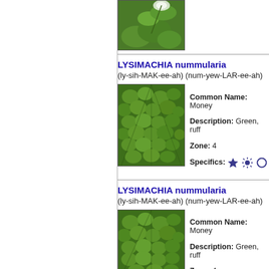[Figure (photo): Top of page: partial view of a plant with green leaves and white flower clusters, cropped at top]
LYSIMACHIA nummularia
(ly-sih-MAK-ee-ah) (num-yew-LAR-ee-ah)
[Figure (photo): Close-up photo of dense green round leaves of Lysimachia nummularia (Moneywort)]
Common Name: Moneyw...
Description: Green, ruff...
Zone: 4
Specifics: [star icon] [sun icon] [circle icon]
LYSIMACHIA nummularia
(ly-sih-MAK-ee-ah) (num-yew-LAR-ee-ah)
[Figure (photo): Close-up photo of dense green round leaves of Lysimachia nummularia (Moneywort)]
Common Name: Moneyw...
Description: Green, ruff...
Zone: 4
Specifics: [star icon] [sun icon] [circle icon]